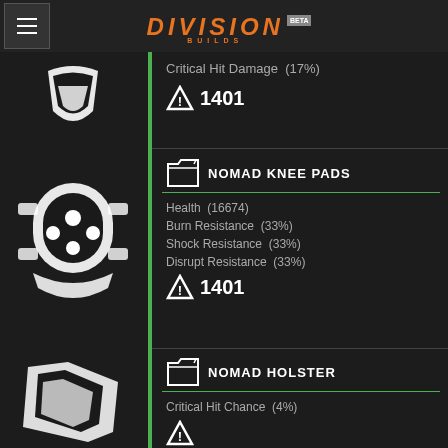DIVISION BUILDS BETA
Critical Hit Damage  (17%)
▲ 1401
NOMAD KNEE PADS
Health  (16674)
Burn Resistance  (33%)
Shock Resistance  (33%)
Disrupt Resistance  (33%)
▲ 1401
NOMAD HOLSTER
Critical Hit Chance  (4%)